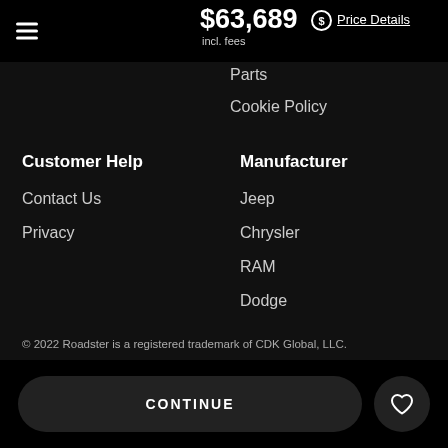$63,689 incl. fees  Price Details
Parts
Cookie Policy
Customer Help
Contact Us
Privacy
Manufacturer
Jeep
Chrysler
RAM
Dodge
Language
English
© 2022 Roadster is a registered trademark of CDK Global, LLC.
CONTINUE